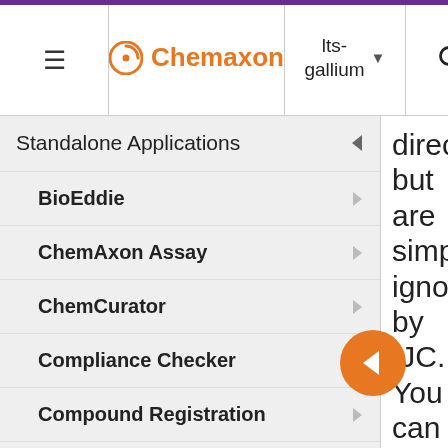≡  Chemaxon  lts-gallium ▾  🔍
Standalone Applications ◄
BioEddie ▷
ChemAxon Assay ▷
ChemCurator ▷
Compliance Checker ▷
Compound Registration ▷
Instant JChem ◄
Instant Jchem User Guide ◄
Getting Started ▷
directo but are simply ignore by IJC. You can re-activa them at